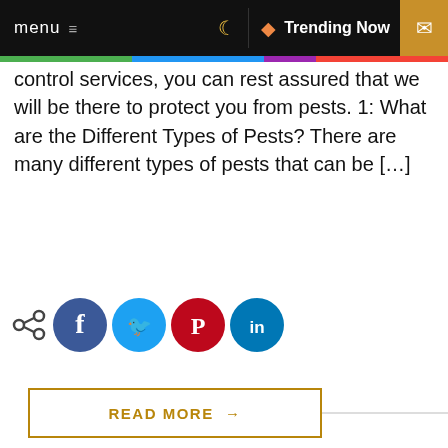menu  ≡   🌙   🔥 Trending Now   ✉
control services, you can rest assured that we will be there to protect you from pests. 1: What are the Different Types of Pests? There are many different types of pests that can be […]
[Figure (infographic): Social share icons: share symbol, Facebook, Twitter, Pinterest, LinkedIn]
READ MORE →
[Figure (photo): Woman reaching up to a cabinet in a kitchen/home interior]
[Figure (infographic): Circular progress indicator showing 52%]
xpert ce?
Instructions for Assembling Arranging Your New Wine